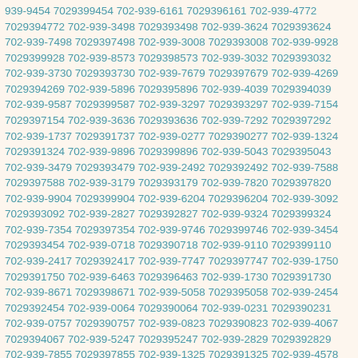939-9454 7029399454 702-939-6161 7029396161 702-939-4772 7029394772 702-939-3498 7029393498 702-939-3624 7029393624 702-939-7498 7029397498 702-939-3008 7029393008 702-939-9928 7029399928 702-939-8573 7029398573 702-939-3032 7029393032 702-939-3730 7029393730 702-939-7679 7029397679 702-939-4269 7029394269 702-939-5896 7029395896 702-939-4039 7029394039 702-939-9587 7029399587 702-939-3297 7029393297 702-939-7154 7029397154 702-939-3636 7029393636 702-939-7292 7029397292 702-939-1737 7029391737 702-939-0277 7029390277 702-939-1324 7029391324 702-939-9896 7029399896 702-939-5043 7029395043 702-939-3479 7029393479 702-939-2492 7029392492 702-939-7588 7029397588 702-939-3179 7029393179 702-939-7820 7029397820 702-939-9904 7029399904 702-939-6204 7029396204 702-939-3092 7029393092 702-939-2827 7029392827 702-939-9324 7029399324 702-939-7354 7029397354 702-939-9746 7029399746 702-939-3454 7029393454 702-939-0718 7029390718 702-939-9110 7029399110 702-939-2417 7029392417 702-939-7747 7029397747 702-939-1750 7029391750 702-939-6463 7029396463 702-939-1730 7029391730 702-939-8671 7029398671 702-939-5058 7029395058 702-939-2454 7029392454 702-939-0064 7029390064 702-939-0231 7029390231 702-939-0757 7029390757 702-939-0823 7029390823 702-939-4067 7029394067 702-939-5247 7029395247 702-939-2829 7029392829 702-939-7855 7029397855 702-939-1325 7029391325 702-939-4578 7029394578 702-939-0765 7029390765 702-939-2339 7029392339 702-939-2265 7029392265 702-939-4823 7029394823 702-939-1995 7029391995 702-939-0804 7029390804 702-939-4069 7029394069 702-939-9899 7029399899 702-939-8341 7029398341 702-939-7612